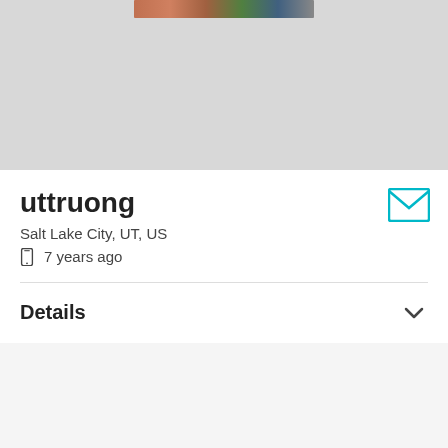[Figure (photo): Partial photo strip visible at top of gray header area]
uttruong
Salt Lake City, UT, US
7 years ago
[Figure (other): Teal envelope/mail icon in top-right of profile section]
Details